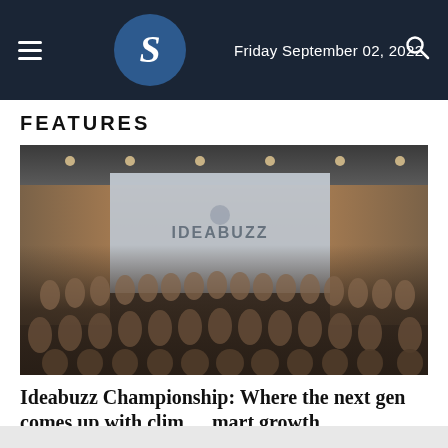Friday September 02, 2022
FEATURES
[Figure (photo): Large group photo of young people (students) gathered in an auditorium/conference hall in front of a projection screen displaying 'Ideabuzz' branding. People are standing and sitting in multiple rows.]
Ideabuzz Championship: Where the next gen comes up with climate smart growth